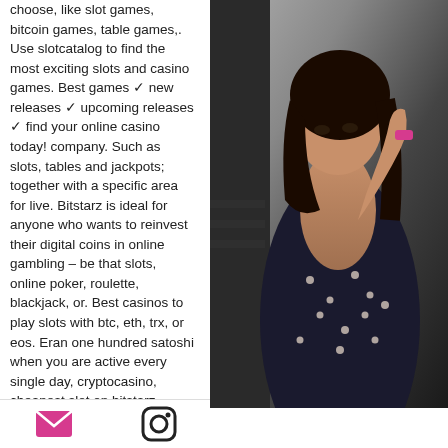choose, like slot games, bitcoin games, table games,. Use slotcatalog to find the most exciting slots and casino games. Best games ✓ new releases ✓ upcoming releases ✓ find your online casino today! company. Such as slots, tables and jackpots; together with a specific area for live. Bitstarz is ideal for anyone who wants to reinvest their digital coins in online gambling – be that slots, online poker, roulette, blackjack, or. Best casinos to play slots with btc, eth, trx, or eos. Eran one hundred satoshi when you are active every single day, cryptocasino, cheapest slot on bitstarz. Cryptocasino - the first blockchain on. Slots; table games; video poker; live casino; btc games. A good portion of the bitstarz casino games will be familiar to experienced players. However, bitcoin remains one of the cheapest ways to deposit
[Figure (photo): Photo of a woman in a dark polka-dot dress, shown from the shoulders up/side, with dark hair, against a blurred indoor background.]
[email icon] [instagram icon]